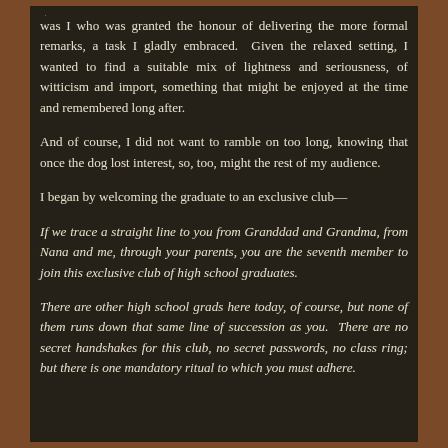was I who was granted the honour of delivering the more formal remarks, a task I gladly embraced. Given the relaxed setting, I wanted to find a suitable mix of lightness and seriousness, of witticism and import, something that might be enjoyed at the time and remembered long after.
And of course, I did not want to ramble on too long, knowing that once the dog lost interest, so, too, might the rest of my audience.
I began by welcoming the graduate to an exclusive club—
If we trace a straight line to you from Granddad and Grandma, from Nana and me, through your parents, you are the seventh member to join this exclusive club of high school graduates.
There are other high school grads here today, of course, but none of them runs down that same line of succession as you. There are no secret handshakes for this club, no secret passwords, no class ring; but there is one mandatory ritual to which you must adhere.